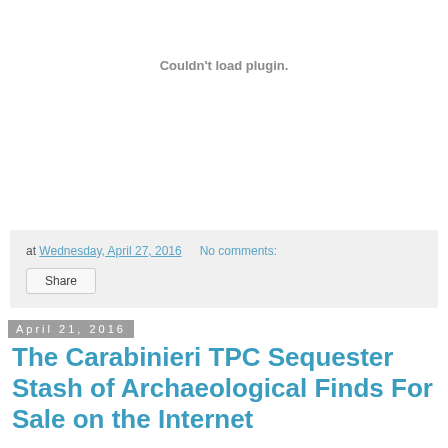[Figure (other): Plugin embed area that failed to load, showing 'Couldn't load plugin.' message]
at Wednesday, April 27, 2016   No comments:
Share
April 21, 2016
The Carabinieri TPC Sequester Stash of Archaeological Finds For Sale on the Internet